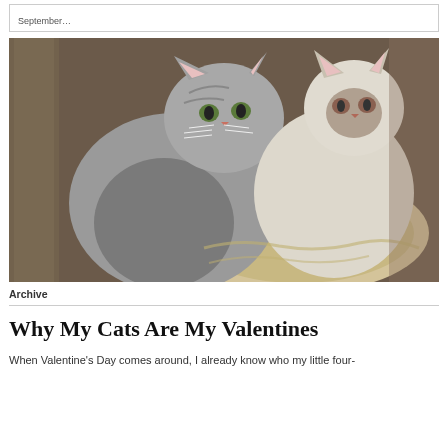September…
[Figure (photo): Two cats cuddled together in a round cat bed — a grey tabby on the left looking up at the camera, and a lighter cream/white cat on the right with dark facial markings resting against the tabby.]
Archive
Why My Cats Are My Valentines
When Valentine's Day comes around, I already know who my little four-